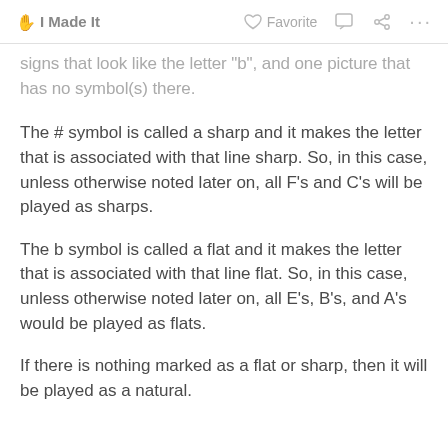I Made It   Favorite
signs that look like the letter "b", and one picture that has no symbol(s) there.
The # symbol is called a sharp and it makes the letter that is associated with that line sharp. So, in this case, unless otherwise noted later on, all F's and C's will be played as sharps.
The b symbol is called a flat and it makes the letter that is associated with that line flat. So, in this case, unless otherwise noted later on, all E's, B's, and A's would be played as flats.
If there is nothing marked as a flat or sharp, then it will be played as a natural.